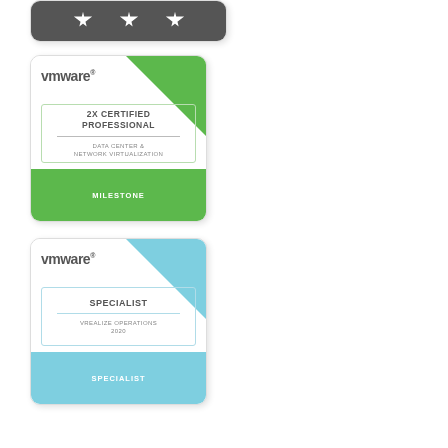[Figure (illustration): Partial VMware badge with dark gray background and three white star/bookmark icons]
[Figure (illustration): VMware 2X Certified Professional badge - Data Center & Network Virtualization Milestone, green color scheme]
[Figure (illustration): VMware Specialist badge - vRealize Operations 2020, light blue color scheme]